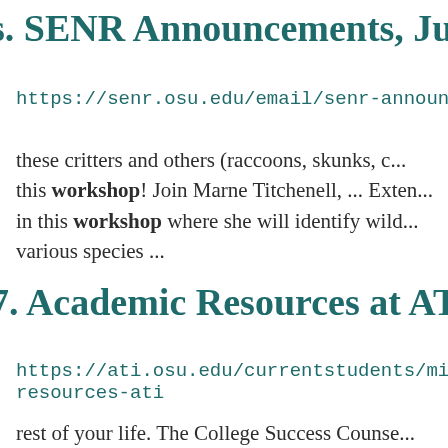SENR Announcements, July 8
https://senr.osu.edu/email/senr-announcements
these critters and others (raccoons, skunks, c... this workshop! Join Marne Titchenell, ... Exten... in this workshop where she will identify wild... various species ...
Academic Resources at ATI
https://ati.osu.edu/currentstudents/military-v... resources-ati
rest of your life.  The College Success Counse...